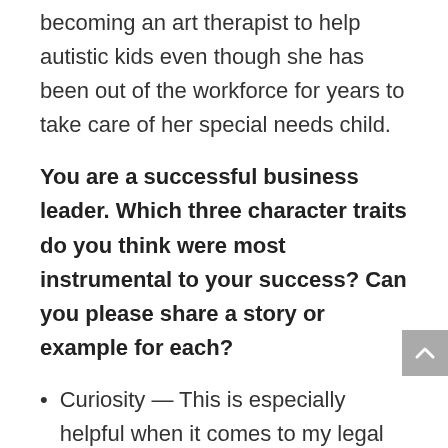becoming an art therapist to help autistic kids even though she has been out of the workforce for years to take care of her special needs child.
You are a successful business leader. Which three character traits do you think were most instrumental to your success? Can you please share a story or example for each?
Curiosity — This is especially helpful when it comes to my legal consulting and my coaching. I remember a legal client asked me to